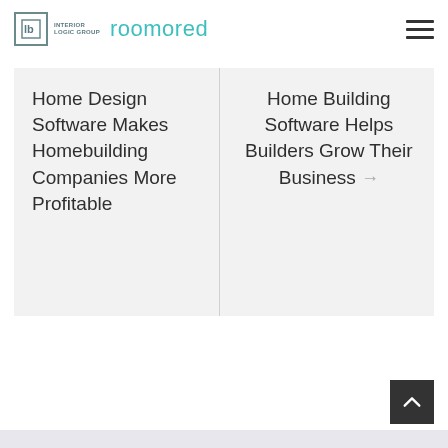Interior Logic Group roomored
Home Design Software Makes Homebuilding Companies More Profitable
Home Building Software Helps Builders Grow Their Business →